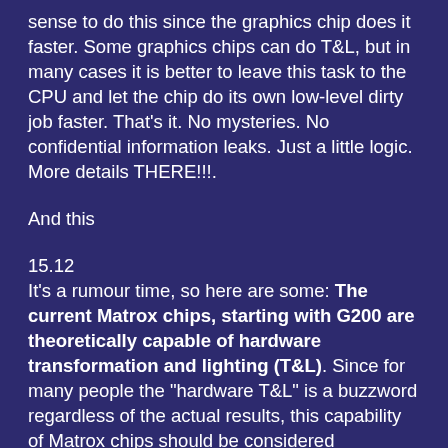sense to do this since the graphics chip does it faster. Some graphics chips can do T&L, but in many cases it is better to leave this task to the CPU and let the chip do its own low-level dirty job faster. That's it. No mysteries. No confidential information leaks. Just a little logic. More details THERE!!!.
And this
15.12
It's a rumour time, so here are some: The current Matrox chips, starting with G200 are theoretically capable of hardware transformation and lighting (T&L). Since for many people the "hardware T&L" is a buzzword regardless of the actual results, this capability of Matrox chips should be considered important, at least from marketing viewpoint. While it doesn't make too much sense to force the G200 to do T&L, this may probably be done to G4xx line chips. It's all in drivers though, and the programmers may or may not use the capability depending on what they